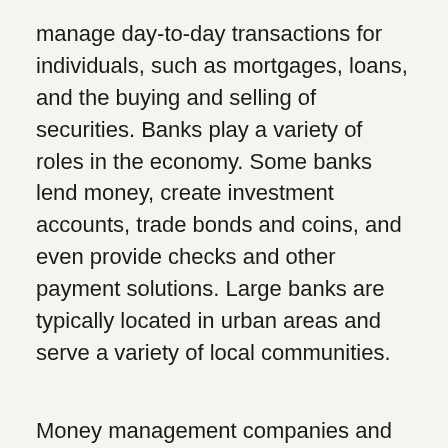manage day-to-day transactions for individuals, such as mortgages, loans, and the buying and selling of securities. Banks play a variety of roles in the economy. Some banks lend money, create investment accounts, trade bonds and coins, and even provide checks and other payment solutions. Large banks are typically located in urban areas and serve a variety of local communities.
Money management companies and financial advice businesses are another type support for the financial sector. Money management companies assist customers in managing their money. Some money management firms also provide investment advice, such as selecting specific investments, mutual funds, and bonds. Although many money management firms offer online banking services, some banks still prefer to use local banks for certain